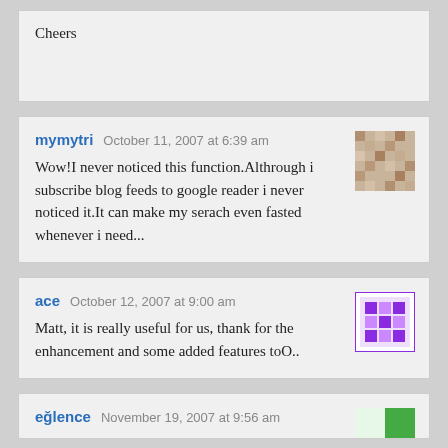Cheers
mymytri   October 11, 2007 at 6:39 am
Wow!I never noticed this function.Althrough i subscribe blog feeds to google reader i never noticed it.It can make my serach even fasted whenever i need...
ace   October 12, 2007 at 9:00 am
Matt, it is really useful for us, thank for the enhancement and some added features toO..
eğlence   November 19, 2007 at 9:56 am